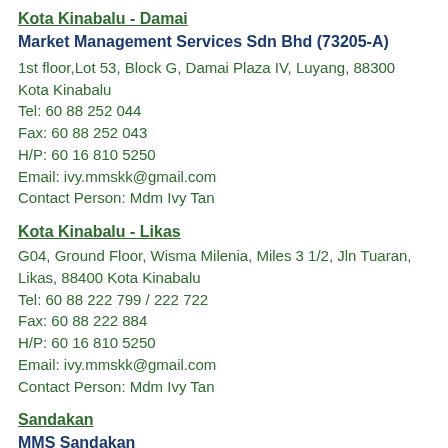Kota Kinabalu - Damai
Market Management Services Sdn Bhd (73205-A)
1st floor,Lot 53, Block G, Damai Plaza IV, Luyang, 88300 Kota Kinabalu
Tel:  60 88 252 044
Fax: 60 88 252 043
H/P: 60 16 810 5250
Email: ivy.mmskk@gmail.com
Contact Person:  Mdm Ivy Tan
Kota Kinabalu - Likas
G04, Ground Floor, Wisma Milenia, Miles 3 1/2, Jln Tuaran, Likas, 88400 Kota Kinabalu
Tel:  60 88 222 799 / 222 722
Fax: 60 88 222 884
H/P: 60 16 810 5250
Email: ivy.mmskk@gmail.com
Contact Person:  Mdm Ivy Tan
Sandakan
MMS Sandakan
Ground Floor, Lot 5, Block A Grandview